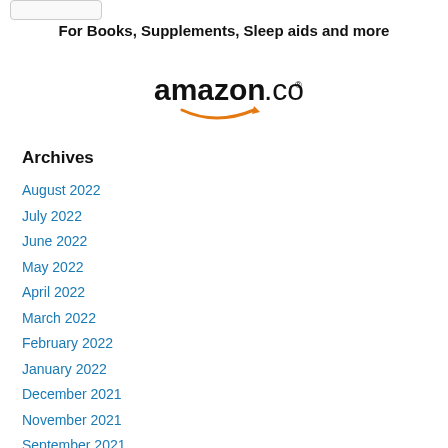For Books, Supplements, Sleep aids and more
[Figure (logo): Amazon.com logo with orange smile arrow]
Archives
August 2022
July 2022
June 2022
May 2022
April 2022
March 2022
February 2022
January 2022
December 2021
November 2021
September 2021
August 2021
July 2021